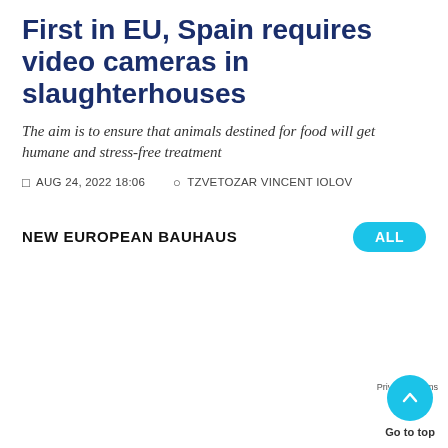First in EU, Spain requires video cameras in slaughterhouses
The aim is to ensure that animals destined for food will get humane and stress-free treatment
AUG 24, 2022 18:06   TZVETOZAR VINCENT IOLOV
NEW EUROPEAN BAUHAUS
ALL
EN
[Figure (map): Gray map area placeholder]
Go to top